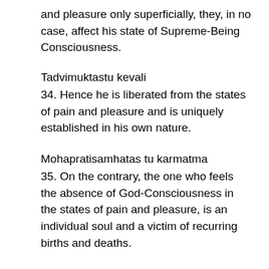and pleasure only superficially, they, in no case, affect his state of Supreme-Being Consciousness.
Tadvimuktastu kevali
34. Hence he is liberated from the states of pain and pleasure and is uniquely established in his own nature.
Mohapratisamhatas tu karmatma
35. On the contrary, the one who feels the absence of God-Consciousness in the states of pain and pleasure, is an individual soul and a victim of recurring births and deaths.
Bheda-tiraskare Sargantara-karmatvam
36. The one who stands, aloof from